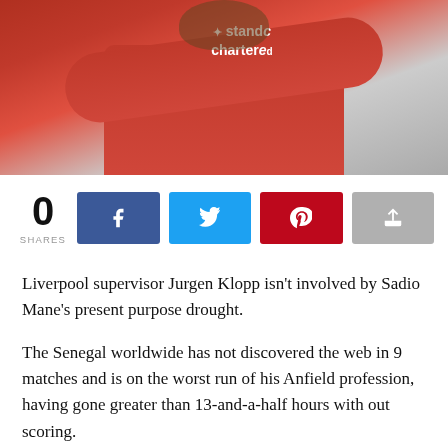[Figure (photo): A Liverpool FC player wearing a red Standard Chartered jersey, arms raised, photographed from chest up against a blurred background.]
0 SHARES
Liverpool supervisor Jurgen Klopp isn't involved by Sadio Mane's present purpose drought.
The Senegal worldwide has not discovered the web in 9 matches and is on the worst run of his Anfield profession, having gone greater than 13-and-a-half hours with out scoring.
Previous to that he had scored 9 instances in 16 matches.